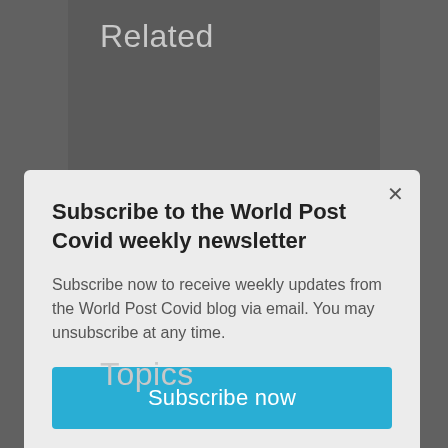Related
Subscribe to the World Post Covid weekly newsletter
Subscribe now to receive weekly updates from the World Post Covid blog via email. You may unsubscribe at any time.
Subscribe now
Topics